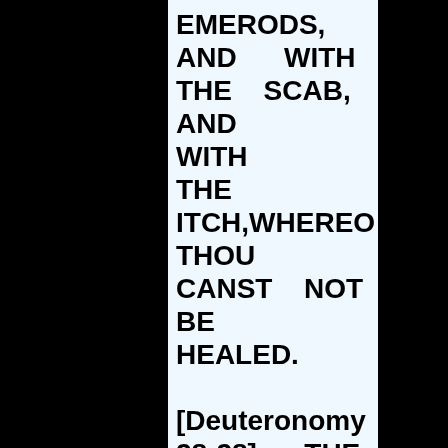EMERODS, AND WITH THE SCAB, AND WITH THE ITCH,WHEREOF THOU CANST NOT BE HEALED.

[Deuteronomy 28:28] THE LORD SHALL SMITE THEE WITH MADNESS.